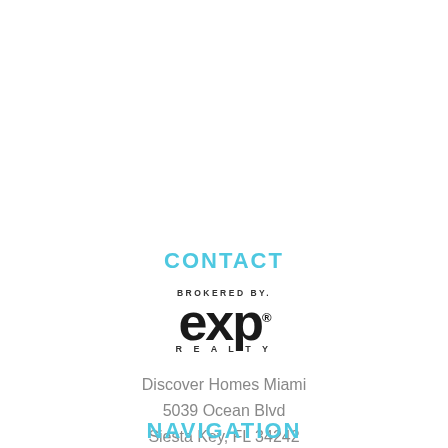CONTACT
[Figure (logo): eXp Realty logo — BROKERED BY exp REALTY with registered trademark symbol]
Discover Homes Miami
5039 Ocean Blvd
Siesta Key, FL 34242
O: (888) 883-8509
M: (305) 590-5844
E: Email Us
Trey Van Tuyl SL#3468631
NAVIGATION